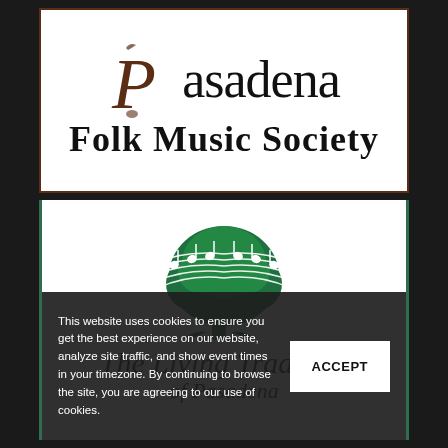[Figure (logo): Pasadena Folk Music Society logo with decorative P and text 'Pasadena Folk Music Society' in black and dark brown on white background with brown border]
[Figure (logo): The Living Tradition logo with green tree wrapped in music staff/notes, text 'The Living Tradition' in italic script below, on white background with green vertical borders]
This website uses cookies to ensure you get the best experience on our website, analyze site traffic, and show event times in your timezone. By continuing to browse the site, you are agreeing to our use of cookies.